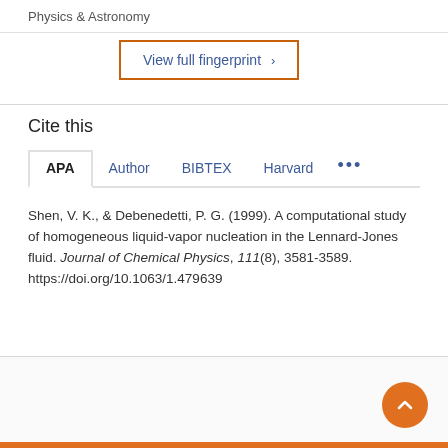Physics & Astronomy
View full fingerprint >
Cite this
APA  Author  BIBTEX  Harvard  ...
Shen, V. K., & Debenedetti, P. G. (1999). A computational study of homogeneous liquid-vapor nucleation in the Lennard-Jones fluid. Journal of Chemical Physics, 111(8), 3581-3589. https://doi.org/10.1063/1.479639